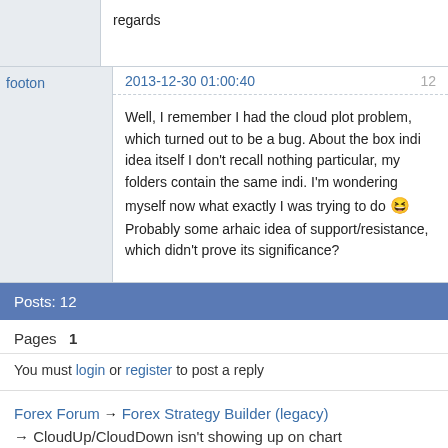regards
footon
2013-12-30 01:00:40
12
Well, I remember I had the cloud plot problem, which turned out to be a bug. About the box indi idea itself I don't recall nothing particular, my folders contain the same indi. I'm wondering myself now what exactly I was trying to do 😆 Probably some arhaic idea of support/resistance, which didn't prove its significance?
Posts: 12
Pages  1
You must login or register to post a reply
Forex Forum → Forex Strategy Builder (legacy) → CloudUp/CloudDown isn't showing up on chart